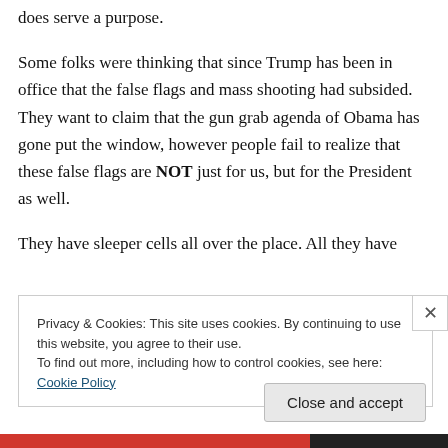does serve a purpose.
Some folks were thinking that since Trump has been in office that the false flags and mass shooting had subsided. They want to claim that the gun grab agenda of Obama has gone put the window, however people fail to realize that these false flags are NOT just for us, but for the President as well.
They have sleeper cells all over the place. All they have
Privacy & Cookies: This site uses cookies. By continuing to use this website, you agree to their use.
To find out more, including how to control cookies, see here: Cookie Policy
Close and accept